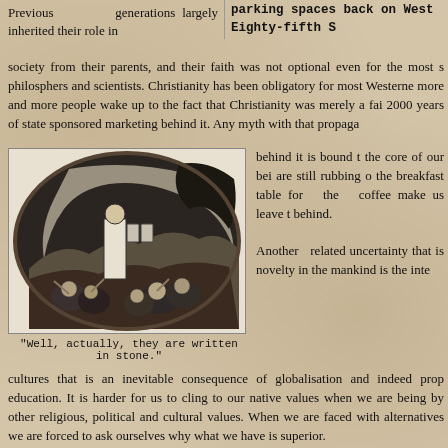Previous generations largely inherited their role in society from their parents, and their faith was not optional even for the most s philosphers and scientists. Christianity has been obligatory for most Westerne more and more people wake up to the fact that Christianity was merely a fai 2000 years of state sponsored marketing behind it. Any myth with that propaga
parking spaces back on West Eighty-fifth S
[Figure (illustration): Black and white illustration showing a robed figure (likely Moses or a biblical figure) standing on elevated ground holding stone tablets, with a crowd of people below. The image is in an oval/circular frame.]
"Well, actually, they are written in stone."
behind it is bound t the core of our bei are still rubbing o the breakfast table for the coffee make us leave t behind.
Another related uncertainty that is novelty in the mankind is the inte cultures that is an inevitable consequence of globalisation and indeed prop education. It is harder for us to cling to our native values when we are being by other religious, political and cultural values. When we are faced with alternatives we are forced to ask ourselves why what we have is superior.
This doubt in our own superiority over other cultures and our unique pos universe has been dealt further blows by the so called “masters of Copernicus, Darwin, Freud, Nietzsche and Marx who each have deprived u consoling myth or other. We are no longer at the centre of the universe, not